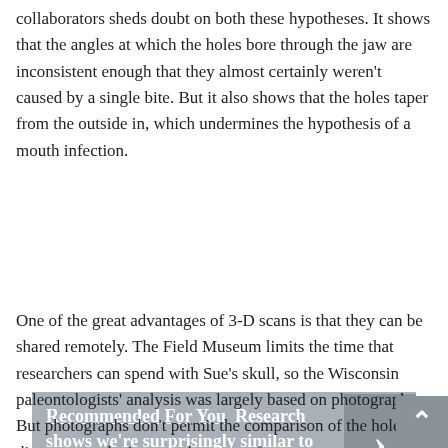collaborators sheds doubt on both these hypotheses. It shows that the angles at which the holes bore through the jaw are inconsistent enough that they almost certainly weren't caused by a single bite. But it also shows that the holes taper from the outside in, which undermines the hypothesis of a mouth infection.
[Figure (infographic): Recommended For You banner: 'Research shows we're surprisingly similar to Earth's first animals' with a right-arrow chevron on a grey background]
One of the great advantages of 3-D scans is that they can be shared remotely. The Field Museum limits the time that researchers can spend with Sue's skull, so the Wisconsin paleontologists' analysis was largely based on photographs. But photographs don't permit the comparison of the holes' diameters at the inner and outer surfaces.